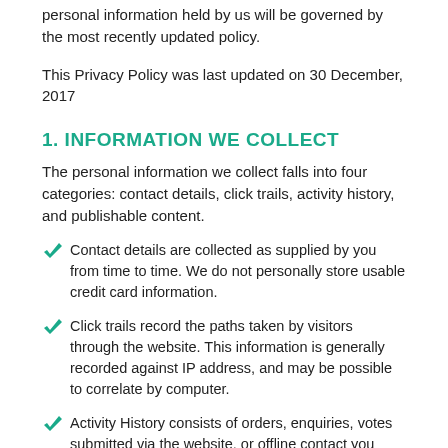personal information held by us will be governed by the most recently updated policy.
This Privacy Policy was last updated on 30 December, 2017
1. INFORMATION WE COLLECT
The personal information we collect falls into four categories: contact details, click trails, activity history, and publishable content.
Contact details are collected as supplied by you from time to time. We do not personally store usable credit card information.
Click trails record the paths taken by visitors through the website. This information is generally recorded against IP address, and may be possible to correlate by computer.
Activity History consists of orders, enquiries, votes submitted via the website, or offline contact you have